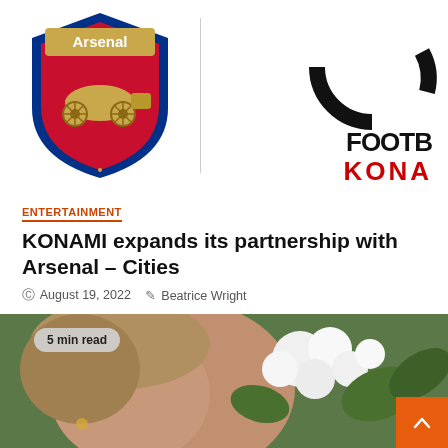[Figure (logo): Arsenal FC crest logo on left, vertical divider line, and partial KONAMI eFootball logo on right showing circular emblem top, 'FOOTB' text, and 'KONA' in red]
ENTERTAINMENT
KONAMI expands its partnership with Arsenal – Cities
August 19, 2022   Beatrice Wright
[Figure (photo): Woman smelling white roses/flowers with green foliage in background, with '5 min read' badge overlay and orange scroll-to-top button]
5 min read